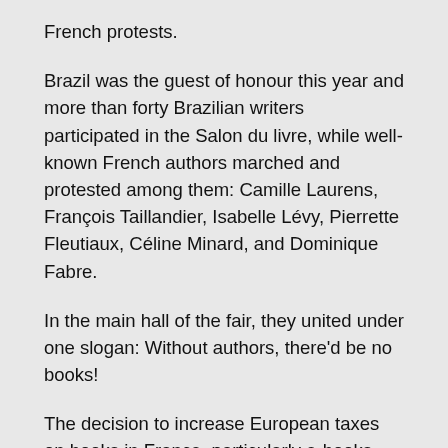French protests.
Brazil was the guest of honour this year and more than forty Brazilian writers participated in the Salon du livre, while well-known French authors marched and protested among them: Camille Laurens, François Taillandier, Isabelle Lévy, Pierrette Fleutiaux, Céline Minard, and Dominique Fabre.
In the main hall of the fair, they united under one slogan: Without authors, there'd be no books!
The decision to increase European taxes on books in France, particularly e-books, had negative repercussions on writers. The European decision to impose a tax on digital books in France and to raise the tax from 5.5% to 20% undoubtedly will lead to